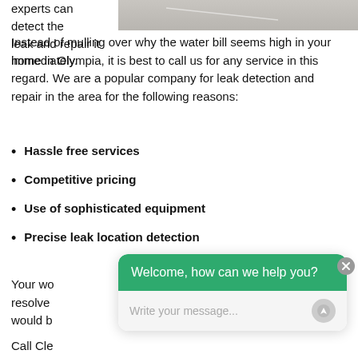[Figure (photo): Partial photo of a surface, appears to be a road or pavement, shown in top-right area of page]
experts can detect the leak and repair it immediately.
Instead of mulling over why the water bill seems high in your home in Olympia, it is best to call us for any service in this regard. We are a popular company for leak detection and repair in the area for the following reasons:
Hassle free services
Competitive pricing
Use of sophisticated equipment
Precise leak location detection
Your wo resolve would b
[Figure (screenshot): Chat widget overlay with green header saying 'Welcome, how can we help you?' and input field with placeholder 'Write your message...']
Call Cle water bill seems high in your home in Olympia.